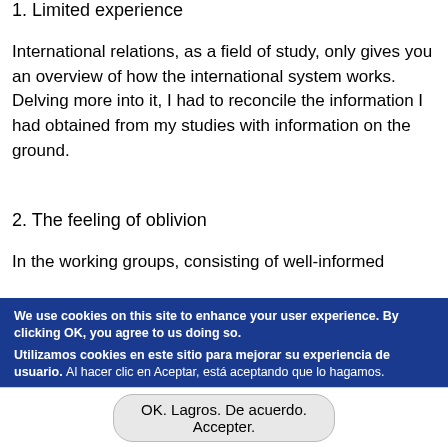1. Limited experience
International relations, as a field of study, only gives you an overview of how the international system works. Delving more into it, I had to reconcile the information I had obtained from my studies with information on the ground.
2. The feeling of oblivion
In the working groups, consisting of well-informed
We use cookies on this site to enhance your user experience. By clicking OK, you agree to us doing so.
Utilizamos cookies en este sitio para mejorar su experiencia de usuario. Al hacer clic en Aceptar, está aceptando que lo hagamos.
Ce site web utilise des cookies pour vous offrir une expérience utilisateur de qualité. En cliquant sur Accepter, vous acceptez l utilisation des cookies.
Click here for more info. Haga clic aquí para mayor información. Cliquez ici pour en savoir plus.
OK. Lagros. De acuerdo. Accepter.